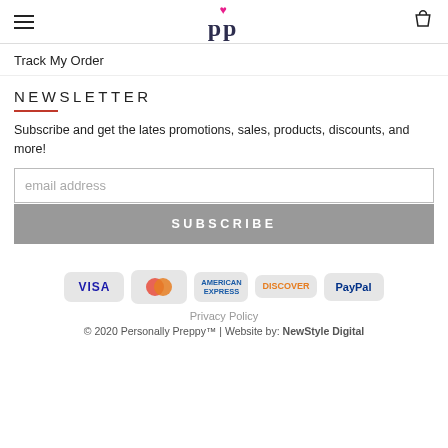[Figure (logo): Personally Preppy logo with pink heart above stylized 'pp' letters in dark navy]
Track My Order
NEWSLETTER
Subscribe and get the lates promotions, sales, products, discounts, and more!
email address
SUBSCRIBE
[Figure (infographic): Payment method icons: VISA, MasterCard, American Express, Discover, PayPal]
Privacy Policy
© 2020 Personally Preppy™ | Website by: NewStyle Digital